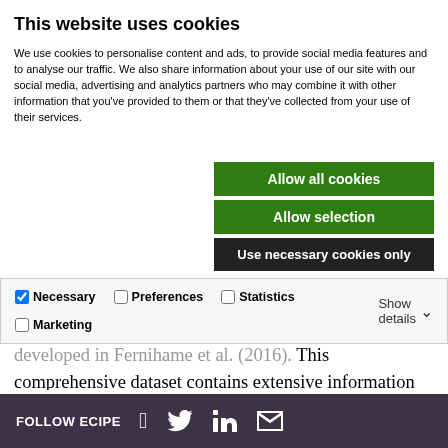This website uses cookies
We use cookies to personalise content and ads, to provide social media features and to analyse our traffic. We also share information about your use of our site with our social media, advertising and analytics partners who may combine it with other information that you've provided to them or that they've collected from your use of their services.
Allow all cookies
Allow selection
Use necessary cookies only
| Necessary | Preferences | Statistics | Marketing | Show details |
| --- | --- | --- | --- | --- |
developed in Fernihame et al. (2016). This comprehensive dataset contains extensive information on the state and history of data policies. This information on data policies has been condensed into a composite (weighted) time-varying policy index for each country covered. The data policy index takes on
FOLLOW ECIPE